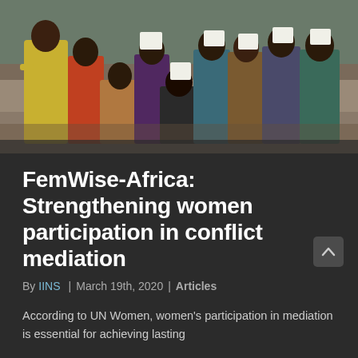[Figure (photo): Group of African women holding certificates, dressed in colorful traditional and modern attire, posing for a group photo at what appears to be a training or graduation event.]
FemWise-Africa: Strengthening women participation in conflict mediation
By IINS | March 19th, 2020 | Articles
According to UN Women, women’s participation in mediation is essential for achieving lasting